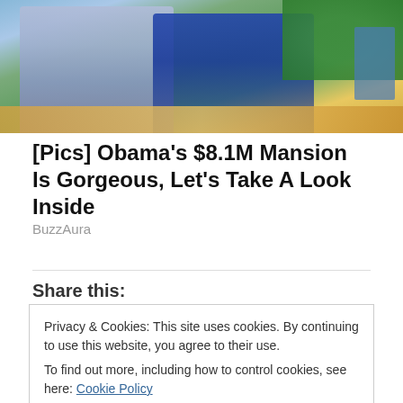[Figure (photo): Photo of two people outdoors, a man in a blue checked shirt on the left and a woman in a blue top on the right, with green trees and a path in the background]
[Pics] Obama's $8.1M Mansion Is Gorgeous, Let's Take A Look Inside
BuzzAura
Share this:
Privacy & Cookies: This site uses cookies. By continuing to use this website, you agree to their use.
To find out more, including how to control cookies, see here: Cookie Policy
Close and accept